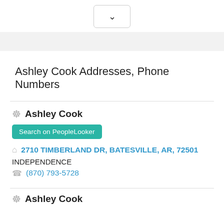[Figure (screenshot): Dropdown button with chevron/down arrow icon, rounded border]
Ashley Cook Addresses, Phone Numbers
Ashley Cook
Search on PeopleLooker
2710 TIMBERLAND DR, BATESVILLE, AR, 72501
INDEPENDENCE
(870) 793-5728